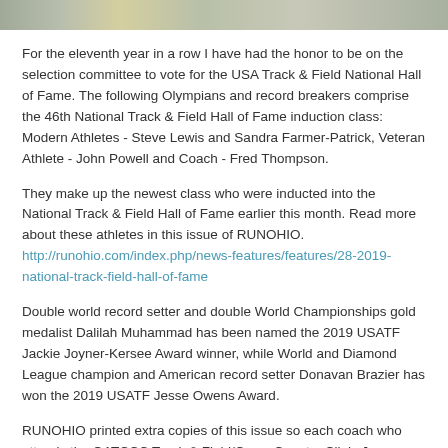[Figure (photo): Top strip of a track and field photo showing pavement with yellow lane lines]
For the eleventh year in a row I have had the honor to be on the selection committee to vote for the USA Track & Field National Hall of Fame. The following Olympians and record breakers comprise the 46th National Track & Field Hall of Fame induction class:  Modern Athletes - Steve Lewis and Sandra Farmer-Patrick, Veteran Athlete - John Powell and Coach - Fred Thompson.
They make up the newest class who were inducted into the National Track & Field Hall of Fame earlier this month. Read more about these athletes in this issue of RUNOHIO. http://runohio.com/index.php/news-features/features/28-2019-national-track-field-hall-of-fame
Double world record setter and double World Championships gold medalist Dalilah Muhammad has been named the 2019 USATF Jackie Joyner-Kersee Award winner, while World and Diamond League champion and American record setter Donavan Brazier has won the 2019 USATF Jesse Owens Award.
RUNOHIO printed extra copies of this issue so each coach who attends the OATCCC Track & Field/Cross Country Clinic January 23 -25 will receive a copy.